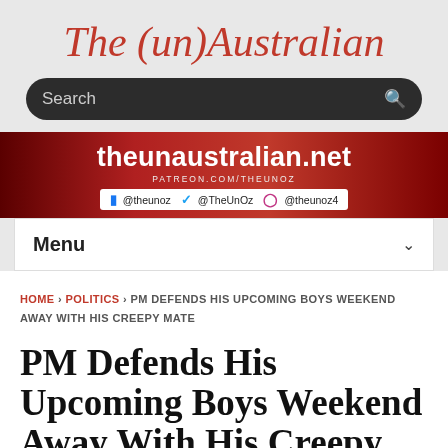The (un)Australian
[Figure (screenshot): Search bar with dark rounded rectangle background]
[Figure (infographic): Red banner with site URL theunaustralian.net, patreon.com/theunoz, and social media handles: @theunoz (Facebook), @TheUnOz (Twitter), @theunoz4 (Instagram)]
Menu
HOME › POLITICS › PM DEFENDS HIS UPCOMING BOYS WEEKEND AWAY WITH HIS CREEPY MATE
PM Defends His Upcoming Boys Weekend Away With His Creepy Mate